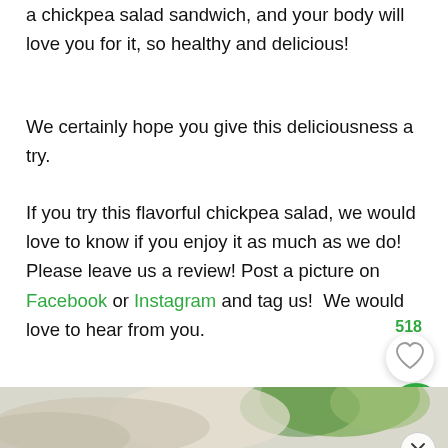a chickpea salad sandwich, and your body will love you for it, so healthy and delicious!
We certainly hope you give this deliciousness a try.
If you try this flavorful chickpea salad, we would love to know if you enjoy it as much as we do! Please leave us a review! Post a picture on Facebook or Instagram and tag us!  We would love to hear from you.
[Figure (photo): Partial photo of a chickpea salad dish, blurred/cropped, with green vegetables visible; UI overlay elements including a like count (518), heart button, search button, and close button]